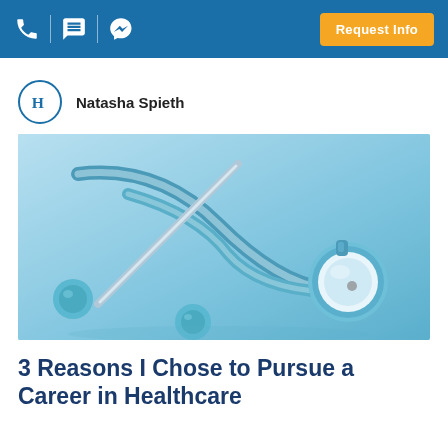Request Info
Natasha Spieth
[Figure (photo): Close-up photo of a blue stethoscope lying on a light blue surface, with the chest piece visible on the right and the earpieces on the left.]
3 Reasons I Chose to Pursue a Career in Healthcare